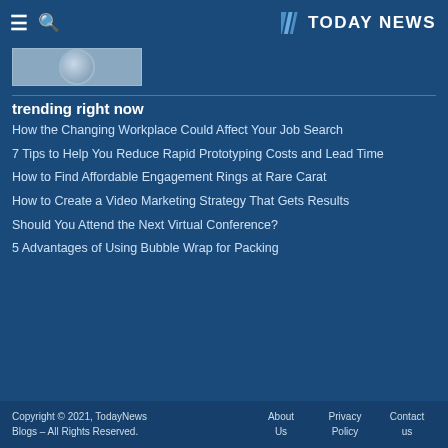TODAY NEWS
[Figure (photo): Partial image visible at top left, appears to be a circular emblem or logo]
trending right now
How the Changing Workplace Could Affect Your Job Search
7 Tips to Help You Reduce Rapid Prototyping Costs and Lead Time
How to Find Affordable Engagement Rings at Rare Carat
How to Create a Video Marketing Strategy That Gets Results
Should You Attend the Next Virtual Conference?
5 Advantages of Using Bubble Wrap for Packing
Copyright © 2021, TodayNews Blogs – All Rights Reserved.   About Us   Privacy Policy   Contact us